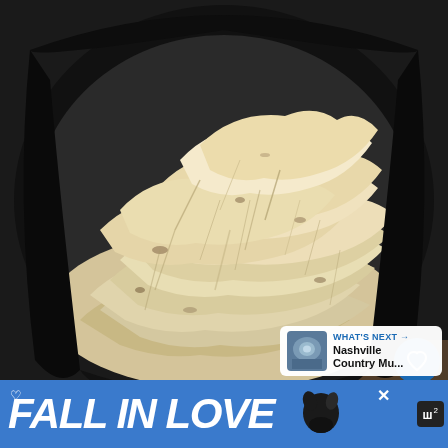[Figure (photo): A slow cooker (crockpot) with a large pile of shredded cooked chicken inside. The chicken is light beige/cream colored and shredded into long strands. The slow cooker insert is black and round.]
[Figure (screenshot): UI overlay on photo showing: heart/save button (blue circle with heart icon), save count '4' in white circle, share button (white circle with share icon), and a 'What's Next' card showing Nashville Country Mu... thumbnail]
WHAT'S NEXT → Nashville Country Mu...
♡ FALL IN LOVE